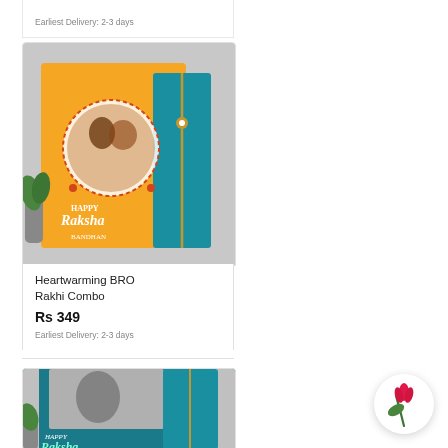Earliest Delivery: 2-3 days
[Figure (photo): Heartwarming BRO Rakhi Combo product image - orange card with siblings photo and teal envelope with gold rakhi]
Heartwarming BRO Rakhi Combo
Rs 349
Earliest Delivery: 2-3 days
[Figure (photo): Happy Raksha Bandhan rakhi combo - teal photo frame card with siblings photo and gold rakhi thread]
[Figure (logo): Circular white button with pink tulip/flower logo - ferns and petals brand icon]